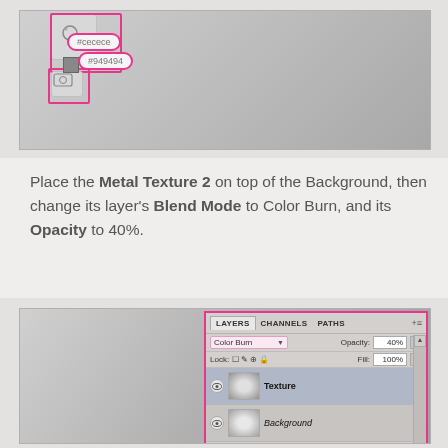[Figure (screenshot): Photoshop toolbar screenshot showing color swatches with callouts indicating #cecece and #949494 hex color values, with pink highlight borders around tool icons]
Place the Metal Texture 2 on top of the Background, then change its layer's Blend Mode to Color Burn, and its Opacity to 40%.
[Figure (screenshot): Photoshop Layers panel screenshot showing two layers: Texture layer with Color Burn blend mode at 40% Opacity, and Background layer with 100% Fill. The layers panel is outlined in pink/magenta. The left side shows a gray metallic textured canvas.]